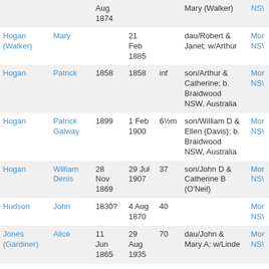| Surname | Given | Born | Died | Age | Notes | Location |
| --- | --- | --- | --- | --- | --- | --- |
|  |  | Aug 1874 |  |  | Mary (Walker) | NSW |
| Hogan (Walker) | Mary |  | 21 Feb 1885 |  | dau/Robert & Janet; w/Arthur | Mon NSW |
| Hogan | Patrick | 1858 | 1858 | inf | son/Arthur & Catherine; b. Braidwood NSW, Australia | Mon NSW |
| Hogan | Patrick Galway | 1899 | 1 Feb 1900 | 6½m | son/William D & Ellen (Davis); b. Braidwood NSW, Australia | Mon NSW |
| Hogan | William Denis | 28 Nov 1869 | 29 Jul 1907 | 37 | son/John D & Catherine B (O'Neil) | Mon NSW |
| Hudson | John | 1830? | 4 Aug 1870 | 40 |  | Mon NSW |
| Jones (Gardiner) | Alice | 11 Jun 1865 | 29 Aug 1935 | 70 | dau/John & Mary A; w/Linde | Mon NSW |
| Jones | Linde | 16 Sep | 17 Aug | 87 | son/Montgomery & Mary (Brown); | NSW |